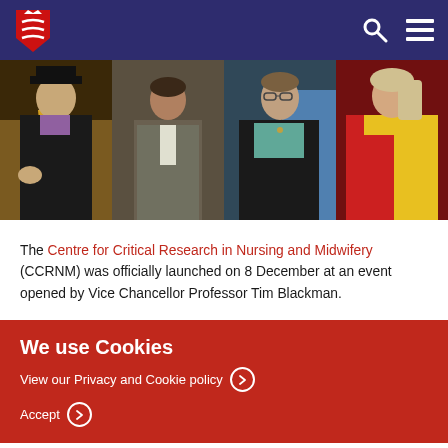University logo and navigation header
[Figure (photo): Four-panel photo strip showing people at an academic event, including someone in academic robes with yellow sash, a person in grey suit, a woman in black jacket with glasses, and a woman in red and yellow academic robes.]
The Centre for Critical Research in Nursing and Midwifery (CCRNM) was officially launched on 8 December at an event opened by Vice Chancellor Professor Tim Blackman.
We use Cookies
View our Privacy and Cookie policy >
Accept >